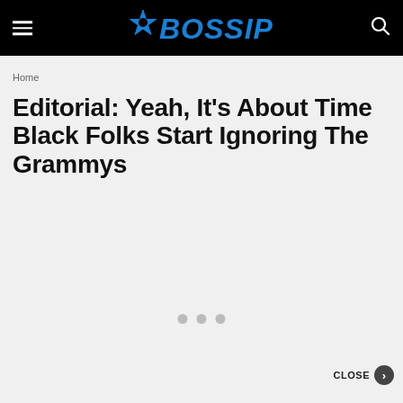BOSSIP
Home
Editorial: Yeah, It’s About Time Black Folks Start Ignoring The Grammys